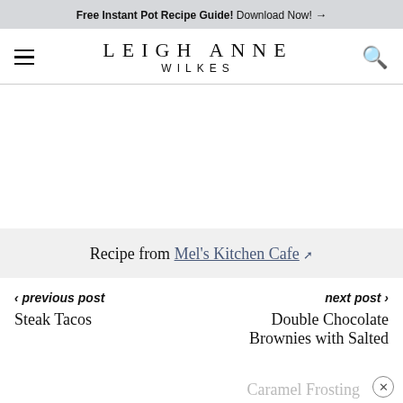Free Instant Pot Recipe Guide! Download Now! →
LEIGH ANNE WILKES
Recipe from Mel's Kitchen Cafe ↗
< previous post
Steak Tacos
next post >
Double Chocolate Brownies with Salted Caramel Frosting